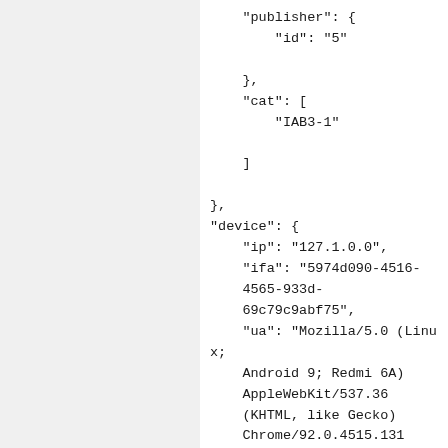"publisher": {
    "id": "5"
},
"cat": [
    "IAB3-1"
]
},
"device": {
    "ip": "127.1.0.0",
    "ifa": "5974d090-4516-4565-933d-69c79c9abf75",
    "ua": "Mozilla/5.0 (Linux; Android 9; Redmi 6A) AppleWebKit/537.36 (KHTML, like Gecko) Chrome/92.0.4515.131 Mobile Safari/537.36",
    "geo": {